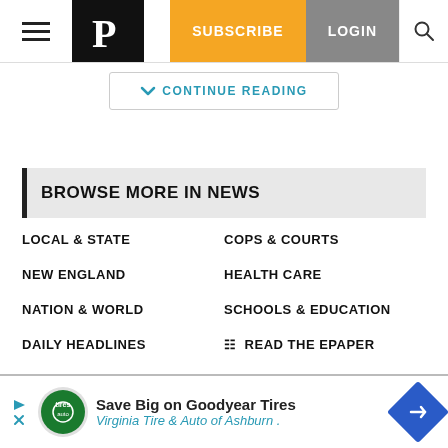The Providence Journal - hamburger menu, logo, SUBSCRIBE, LOGIN, search
CONTINUE READING
BROWSE MORE IN NEWS
LOCAL & STATE
COPS & COURTS
NEW ENGLAND
HEALTH CARE
NATION & WORLD
SCHOOLS & EDUCATION
DAILY HEADLINES
READ THE EPAPER
[Figure (infographic): Advertisement banner: Save Big on Goodyear Tires - Virginia Tire & Auto of Ashburn with logo and direction arrow icon]